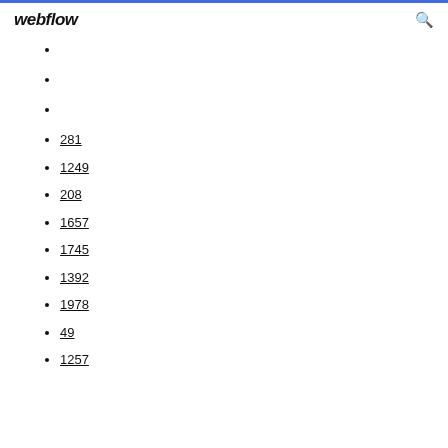webflow
281
1249
208
1657
1745
1392
1978
49
1257